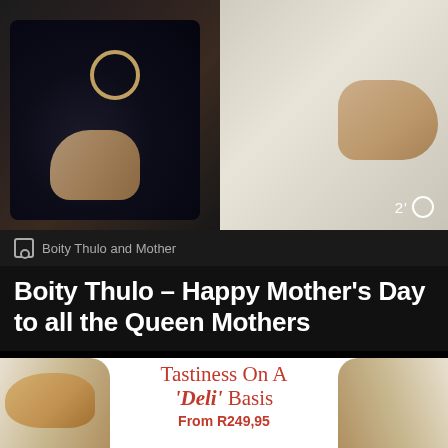[Figure (photo): Two people photographed from waist/torso down — left person wearing dark leather outfit with circular belt buckle, right person in white outfit with hand visible. Timer badge showing '2' and clock icon in bottom right corner.]
Boity Thulo and Mother
Boity Thulo – Happy Mother's Day to all the Queen Mothers
[Figure (advertisement): Food advertisement showing bread and deli items on white background with text 'Tastiness On A Deli Basis From R249,95']